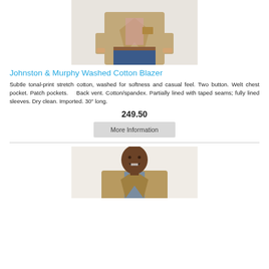[Figure (photo): Man wearing a tan/khaki Johnston & Murphy Washed Cotton Blazer over a plaid shirt and jeans, cropped at torso]
Johnston & Murphy Washed Cotton Blazer
Subtle tonal-print stretch cotton, washed for softness and casual feel. Two button. Welt chest pocket. Patch pockets. Back vent. Cotton/spandex. Partially lined with taped seams; fully lined sleeves. Dry clean. Imported. 30" long.
249.50
More Information
[Figure (photo): Man wearing a tan/brown blazer over a blue shirt, smiling, head and upper torso visible]